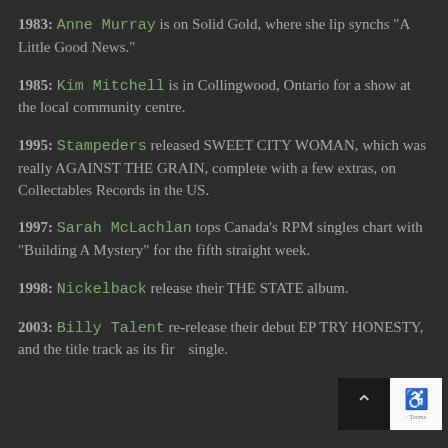1983: Anne Murray is on Solid Gold, where she lip synchs "A Little Good News."
1985: Kim Mitchell is in Collingwood, Ontario for a show at the local community centre.
1995: Stampeders released SWEET CITY WOMAN, which was really AGAINST THE GRAIN, complete with a few extras, on Collectables Records in the US.
1997: Sarah McLachlan tops Canada's RPM singles chart with "Building A Mystery" for the fifth straight week.
1998: Nickelback release their THE STATE album.
2003: Billy Talent re-release their debut EP TRY HONESTY, and the title track as its first single.